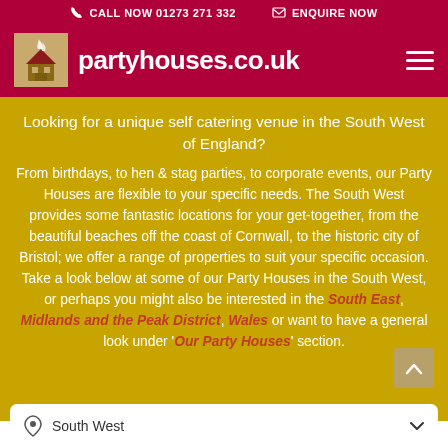CALL NOW 01273 271 332   ENQUIRE NOW
partyhouses.co.uk
Looking for a unique self catering venue in the South West of England?
From birthdays, to hen & stag parties, to corporate events, our Party Houses are flexible to your specific needs. The South West provides some fantastic locations for your get-together, from the beautiful beaches off the coast of Cornwall, to the historic city of Bristol; we offer a range of properties to suit your specific occasion. Take a look below at some of our Party Houses in the South West, or perhaps you might also be interested in the South East, Midlands and the Peak District, Wales or want to have a general look under 'Our Party Houses' section.